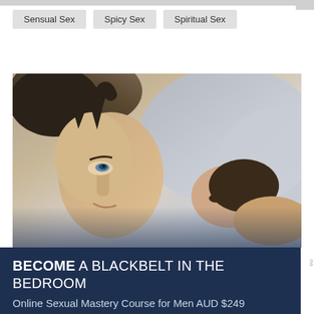Sensual Sex
Spicy Sex
Spiritual Sex
[Figure (photo): A man and woman lying together on a bed, looking upward, with soft pillows in the background. Black and white/muted tones with intimate setting.]
BECOME A BLACKBELT IN THE BEDROOM
Online Sexual Mastery Course for Men AUD $249